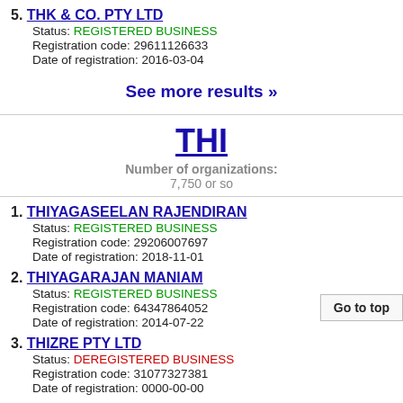5. THK & CO. PTY LTD
Status: REGISTERED BUSINESS
Registration code: 29611126633
Date of registration: 2016-03-04
See more results »
THI
Number of organizations: 7,750 or so
1. THIYAGASEELAN RAJENDIRAN
Status: REGISTERED BUSINESS
Registration code: 29206007697
Date of registration: 2018-11-01
2. THIYAGARAJAN MANIAM
Status: REGISTERED BUSINESS
Registration code: 64347864052
Date of registration: 2014-07-22
3. THIZRE PTY LTD
Status: DEREGISTERED BUSINESS
Registration code: 31077327381
Date of registration: 0000-00-00
4. THIYAKESHAN THIYAGALINGAM
Status: DEREGISTERED BUSINESS